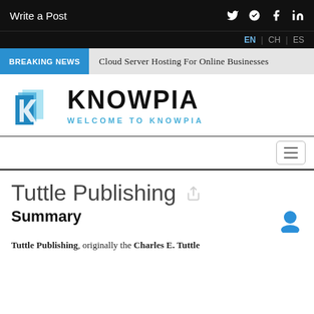Write a Post
EN | CH | ES
BREAKING NEWS   Cloud Server Hosting For Online Businesses
[Figure (logo): Knowpia blue folded paper/book logo icon]
KNOWPIA
WELCOME TO KNOWPIA
Tuttle Publishing
Summary
Tuttle Publishing, originally the Charles E. Tuttle Company, is a publishing company that publishes books related to Asia.